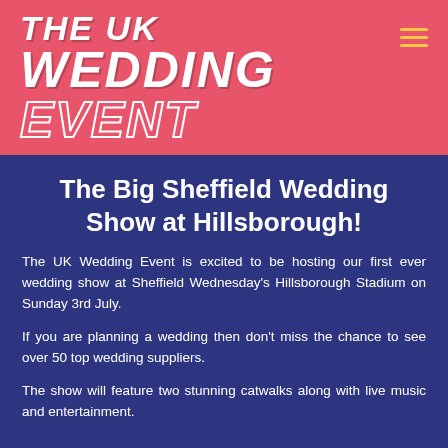THE UK WEDDING EVENT
The Big Sheffield Wedding Show at Hillsborough!
The UK Wedding Event is excited to be hosting our first ever wedding show at Sheffield Wednesday's Hillsborough Stadium on Sunday 3rd July.
If you are planning a wedding then don't miss the chance to see over 50 top wedding suppliers.
The show will feature two stunning catwalks along with live music and entertainment.